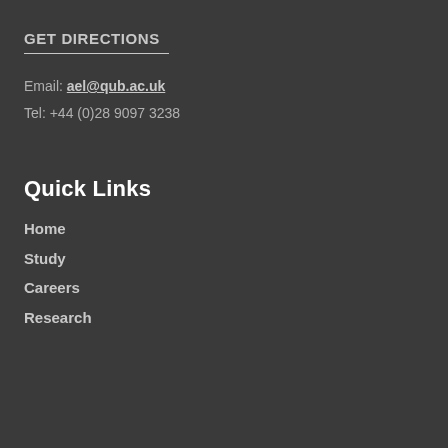GET DIRECTIONS
Email: ael@qub.ac.uk
Tel: +44 (0)28 9097 3238
Quick Links
Home
Study
Careers
Research